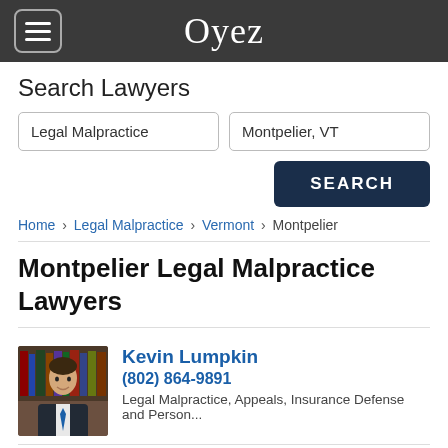Oyez
Search Lawyers
Legal Malpractice | Montpelier, VT
SEARCH
Home › Legal Malpractice › Vermont › Montpelier
Montpelier Legal Malpractice Lawyers
Kevin Lumpkin
(802) 864-9891
Legal Malpractice, Appeals, Insurance Defense and Person...
website  profile  email